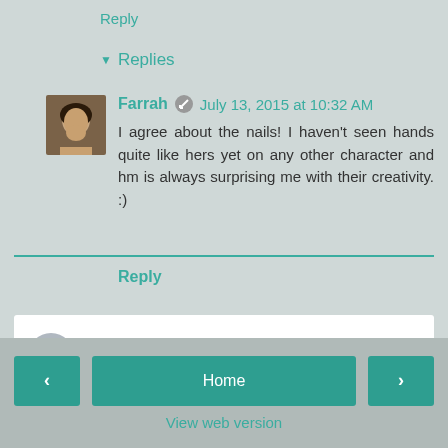Reply
▾ Replies
Farrah  July 13, 2015 at 10:32 AM
I agree about the nails! I haven't seen hands quite like hers yet on any other character and hm is always surprising me with their creativity. :)
Reply
Enter Comment
< Home > View web version